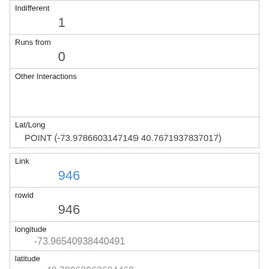| Indifferent | 1 |
| Runs from | 0 |
| Other Interactions |  |
| Lat/Long | POINT (-73.9786603147149 40.7671937837017) |
| Link | 946 |
| rowid | 946 |
| longitude | -73.96540938440491 |
| latitude | 40.78068963684469 |
| Unique Squirrel ID | 20F-PM-1007-09 |
| Hectare | 20F |